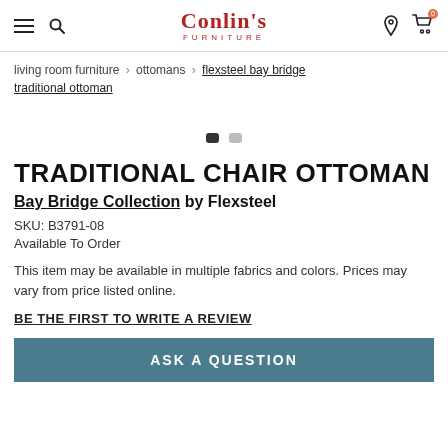Conlin's Furniture navigation header with hamburger menu, search, logo, location pin, and cart icons
living room furniture > ottomans > flexsteel bay bridge traditional ottoman
[Figure (other): Carousel slide indicator dots — one dark active dot and one gray inactive dot]
TRADITIONAL CHAIR OTTOMAN
Bay Bridge Collection by Flexsteel
SKU: B3791-08
Available To Order
This item may be available in multiple fabrics and colors. Prices may vary from price listed online.
BE THE FIRST TO WRITE A REVIEW
ASK A QUESTION